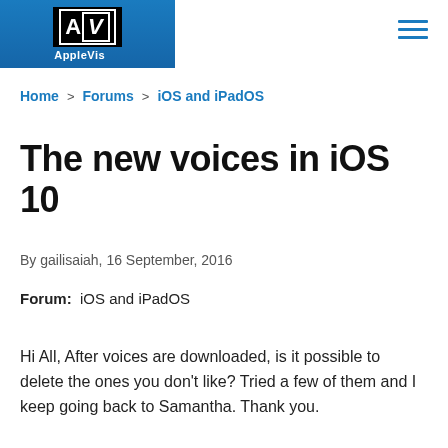[Figure (logo): AppleVis logo: AV letters in white on black background with white border, 'AppleVis' text below in white, on a blue gradient header bar]
Home > Forums > iOS and iPadOS
The new voices in iOS 10
By gailisaiah, 16 September, 2016
Forum:  iOS and iPadOS
Hi All, After voices are downloaded, is it possible to delete the ones you don't like? Tried a few of them and I keep going back to Samantha. Thank you.